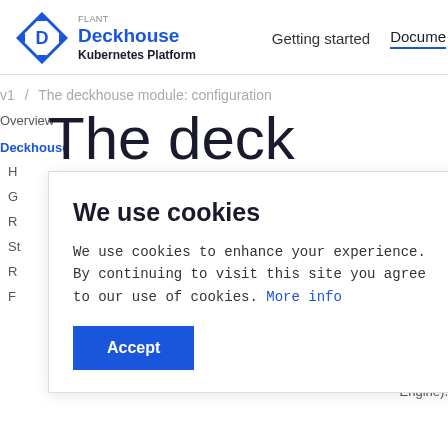FLANT Deckhouse Kubernetes Platform | Getting started | Documentation
v1 / The deckhouse module: configuration
Overview
The deck
Deckhouse ▲
H
G
R
St
R
F
We use cookies
We use cookies to enhance your experience. By continuing to visit this site you agree to our use of cookies. More info
Accept
Engine).